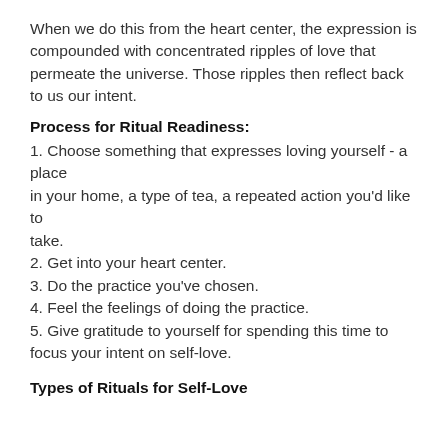When we do this from the heart center, the expression is compounded with concentrated ripples of love that permeate the universe. Those ripples then reflect back to us our intent.
Process for Ritual Readiness:
1. Choose something that expresses loving yourself - a place in your home, a type of tea, a repeated action you'd like to take.
2. Get into your heart center.
3. Do the practice you've chosen.
4. Feel the feelings of doing the practice.
5. Give gratitude to yourself for spending this time to focus your intent on self-love.
Types of Rituals for Self-Love